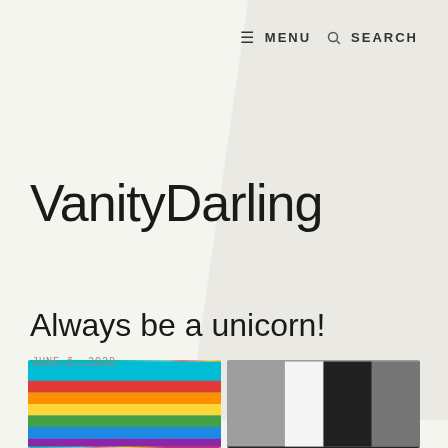≡  MENU    🔍  SEARCH
VanityDarling
Always be a unicorn!
JUNE 6, 2020
[Figure (photo): Two photos side by side at bottom: left shows a rainbow flag with teal/cyan background, right shows a person in white and black clothing]
[Figure (photo): Right image of two people, one in white outfit and one in black]